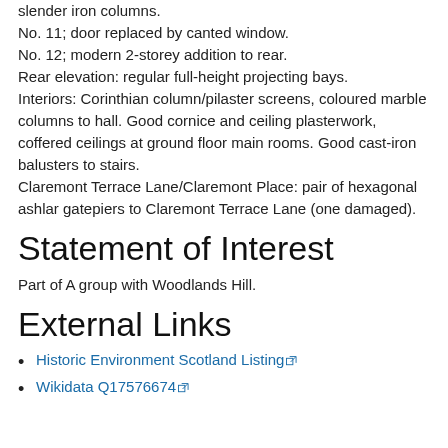slender iron columns.
No. 11; door replaced by canted window.
No. 12; modern 2-storey addition to rear.
Rear elevation: regular full-height projecting bays.
Interiors: Corinthian column/pilaster screens, coloured marble columns to hall. Good cornice and ceiling plasterwork, coffered ceilings at ground floor main rooms. Good cast-iron balusters to stairs.
Claremont Terrace Lane/Claremont Place: pair of hexagonal ashlar gatepiers to Claremont Terrace Lane (one damaged).
Statement of Interest
Part of A group with Woodlands Hill.
External Links
Historic Environment Scotland Listing
Wikidata Q17576674